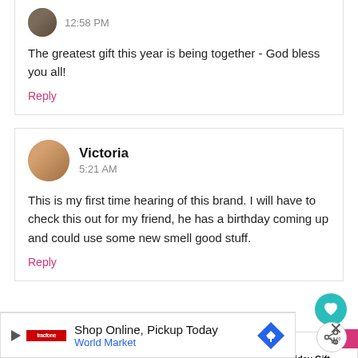12:58 PM
The greatest gift this year is being together - God bless you all!
Reply
Victoria
5:21 AM
This is my first time hearing of this brand. I will have to check this out for my friend, he has a birthday coming up and could use some new smell good stuff.
Reply
WHAT'S NEXT → Last Minute Holiday Gift...
[Figure (screenshot): Ad banner: Shop Online, Pickup Today - World Market with blue diamond logo]
Shop Online, Pickup Today
World Market